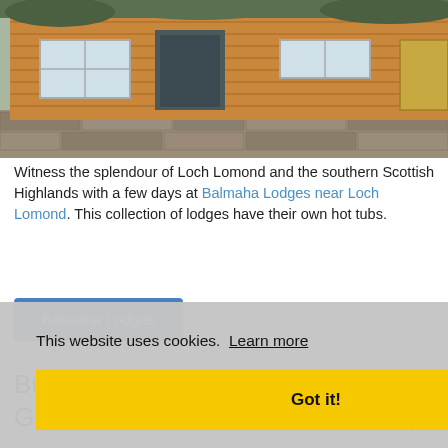[Figure (photo): Exterior photo of a wooden lodge with dark door and stone wall, Balmaha Lodges near Loch Lomond]
Witness the splendour of Loch Lomond and the southern Scottish Highlands with a few days at Balmaha Lodges near Loch Lomond. This collection of lodges have their own hot tubs.
Balmaha Lodges
Bucklegrove Holiday Park in Cheddar, Somerset - close to Glastonbury Tor and Cheddar Gorge
[Figure (photo): Exterior photo of a lodge at Bucklegrove Holiday Park with trees in background]
This website uses cookies. Learn more
Got it!